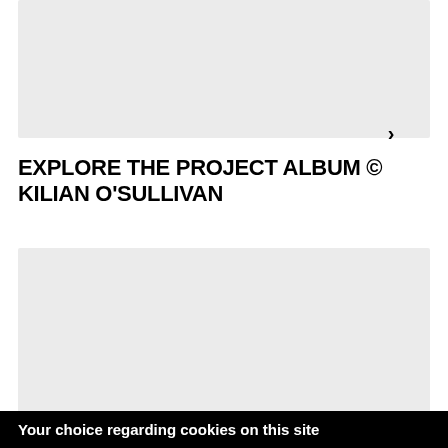[Figure (photo): Gray placeholder image block at the top of the page]
EXPLORE THE PROJECT ALBUM © KILIAN O'SULLIVAN
[Figure (photo): Gray placeholder image block in the lower section of the page with a right-arrow navigation button]
Your choice regarding cookies on this site